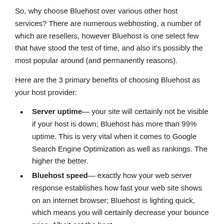So, why choose Bluehost over various other host services? There are numerous webhosting, a number of which are resellers, however Bluehost is one select few that have stood the test of time, and also it's possibly the most popular around (and permanently reasons).
Here are the 3 primary benefits of choosing Bluehost as your host provider:
Server uptime— your site will certainly not be visible if your host is down; Bluehost has more than 99% uptime. This is very vital when it comes to Google Search Engine Optimization as well as rankings. The higher the better.
Bluehost speed— exactly how your web server response establishes how fast your web site shows on an internet browser; Bluehost is lighting quick, which means you will certainly decrease your bounce price. Albeit not the best